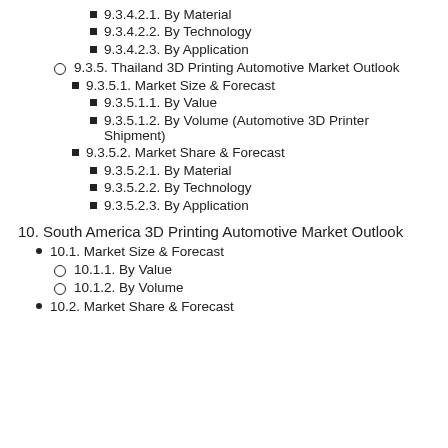9.3.4.2.1. By Material
9.3.4.2.2. By Technology
9.3.4.2.3. By Application
9.3.5. Thailand 3D Printing Automotive Market Outlook
9.3.5.1. Market Size & Forecast
9.3.5.1.1. By Value
9.3.5.1.2. By Volume (Automotive 3D Printer Shipment)
9.3.5.2. Market Share & Forecast
9.3.5.2.1. By Material
9.3.5.2.2. By Technology
9.3.5.2.3. By Application
10. South America 3D Printing Automotive Market Outlook
10.1. Market Size & Forecast
10.1.1. By Value
10.1.2. By Volume
10.2. Market Share & Forecast